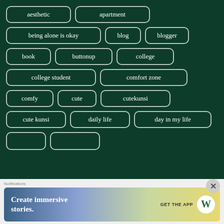[Figure (infographic): Tag cloud on dark green background with rounded rectangle tag buttons: aesthetic, apartment, being alone is okay, blog, blogger, book, buttonup, college, college student, comfort zone, comfy, cute, cutekunsi, cute kunsi, daily life, day in my life, and partial tags at bottom]
[Figure (infographic): Advertisement banner for WordPress app: 'Create immersive stories. GET THE APP' with WordPress logo on gradient background]